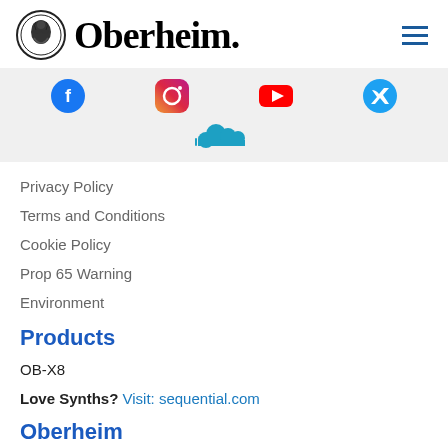[Figure (logo): Oberheim logo with decorative circular icon and serif wordmark 'Oberheim.' with hamburger menu icon on right]
[Figure (infographic): Social media icons row: Facebook, Instagram, YouTube, additional icon, and SoundCloud cloud icon below on gray background]
Privacy Policy
Terms and Conditions
Cookie Policy
Prop 65 Warning
Environment
Products
OB-X8
Love Synths? Visit: sequential.com
Oberheim